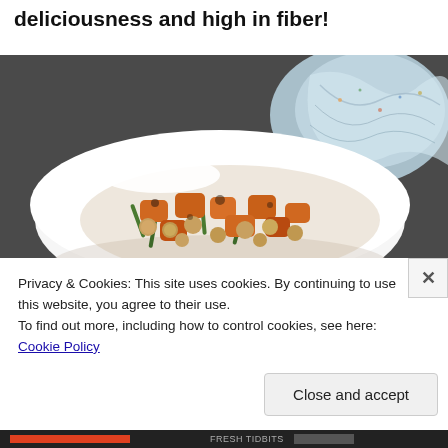deliciousness and high in fiber!
[Figure (photo): A white bowl filled with roasted chickpeas, sweet potato chunks, and green beans, seasoned with spices. A colorful fabric/knit item is visible in the background on a dark surface.]
Privacy & Cookies: This site uses cookies. By continuing to use this website, you agree to their use.
To find out more, including how to control cookies, see here: Cookie Policy
Close and accept